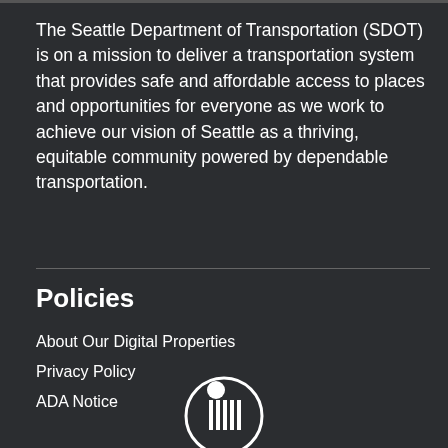The Seattle Department of Transportation (SDOT) is on a mission to deliver a transportation system that provides safe and affordable access to places and opportunities for everyone as we work to achieve our vision of Seattle as a thriving, equitable community powered by dependable transportation.
Policies
About Our Digital Properties
Privacy Policy
ADA Notice
[Figure (logo): Seattle city logo - circular emblem with figure and vertical lines in black and white]